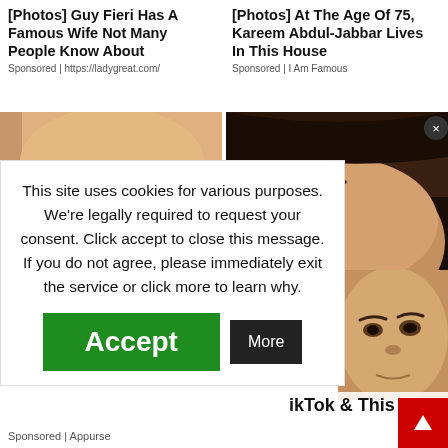[Photos] Guy Fieri Has A Famous Wife Not Many People Know About
Sponsored | https://ladygreat.com/
[Photos] At The Age Of 75, Kareem Abdul-Jabbar Lives In This House
Sponsored | I Am Famous
[Figure (photo): Two close-up face photos side by side]
This site uses cookies for various purposes. We're legally required to request your consent. Click accept to close this message. If you do not agree, please immediately exit the service or click more to learn why.
Accept
More
ikTok & This
Sponsored | Appurse